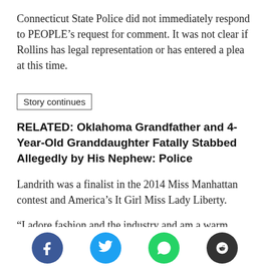Connecticut State Police did not immediately respond to PEOPLE’s request for comment. It was not clear if Rollins has legal representation or has entered a plea at this time.
Story continues
RELATED: Oklahoma Grandfather and 4-Year-Old Granddaughter Fatally Stabbed Allegedly by His Nephew: Police
Landrith was a finalist in the 2014 Miss Manhattan contest and America’s It Girl Miss Lady Liberty.
“I adore fashion and the industry and am a warm weather person with a warm heart,” the model said in a bio on an iStudio page. “I have worked with some really
[Figure (infographic): Social media sharing icons: Facebook (blue), Twitter (cyan), WhatsApp (green), Reddit (dark grey)]